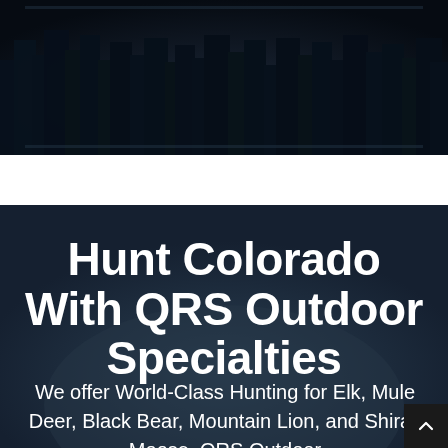[Figure (photo): Dark nighttime forest or outdoor scene with trees, very dark blue-black tones]
Hunt Colorado With QRS Outdoor Specialties
We offer World-Class Hunting for Elk, Mule Deer, Black Bear, Mountain Lion, and Shiras Moose. QRS Outdoor